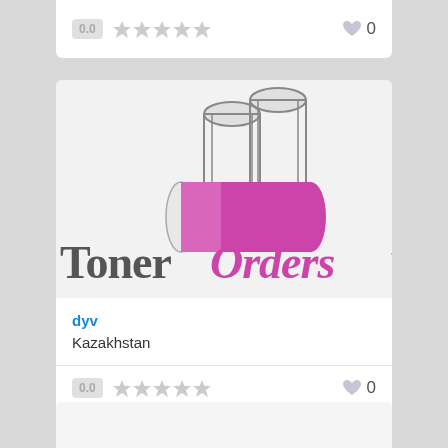[Figure (screenshot): Partial top of a review/listing card showing rating score 0.0, five empty stars, and a heart icon with count 0]
[Figure (logo): TonerOrders.com.au logo — stylized toner cartridges (gray and pink/magenta) above the text 'TonerOrders.com.au' in mixed serif fonts, partially cropped on right]
dyv
Kazakhstan
[Figure (screenshot): Rating row showing 0.0 score badge, five empty stars, and heart icon with 0]
[Figure (screenshot): Partially visible bottom card, light gray background]